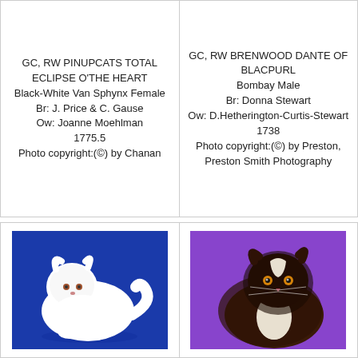GC, RW PINUPCATS TOTAL ECLIPSE O'THE HEART
Black-White Van Sphynx Female
Br: J. Price & C. Gause
Ow: Joanne Moehlman
1775.5
Photo copyright:(©) by Chanan
GC, RW BRENWOOD DANTE OF BLACPURL
Bombay Male
Br: Donna Stewart
Ow: D.Hetherington-Curtis-Stewart
1738
Photo copyright:(©) by Preston, Preston Smith Photography
[Figure (photo): White fluffy cat posed on a bright blue background]
[Figure (photo): Dark brown and white fluffy cat on a purple background]